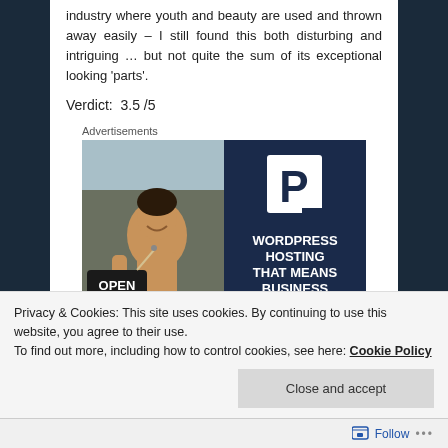industry where youth and beauty are used and thrown away easily – I still found this both disturbing and intriguing … but not quite the sum of its exceptional looking 'parts'.
Verdict:  3.5 /5
Advertisements
[Figure (photo): Advertisement banner: left half shows a woman smiling holding an OPEN sign; right half is dark navy with a white P logo and text 'WORDPRESS HOSTING THAT MEANS BUSINESS']
Privacy & Cookies: This site uses cookies. By continuing to use this website, you agree to their use.
To find out more, including how to control cookies, see here: Cookie Policy
Close and accept
Follow